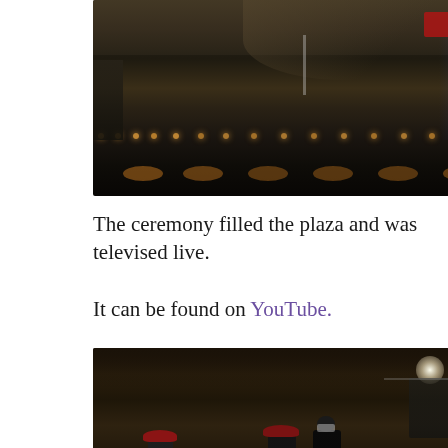[Figure (photo): Night ceremony at the Western Wall plaza in Jerusalem, wide aerial view showing rows of people, lit candles/lanterns along the ground, blue and orange stage lighting, large crowd arranged in a semicircle]
The ceremony filled the plaza and was televised live.
It can be found on YouTube.
[Figure (photo): Night photo of military ceremony with soldiers wearing red berets and masks, a civilian in dark suit, and a soldier in a green beret visible from behind in the foreground, bright light sources on either side]